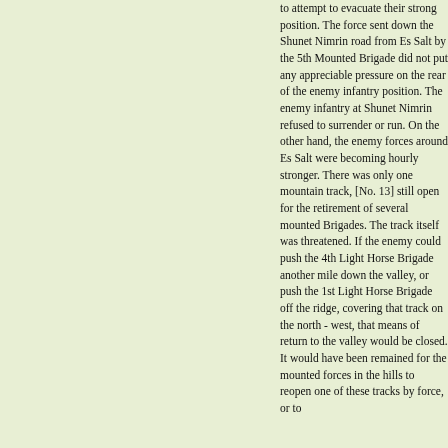to attempt to evacuate their strong position. The force sent down the Shunet Nimrin road from Es Salt by the 5th Mounted Brigade did not put any appreciable pressure on the rear of the enemy infantry position. The enemy infantry at Shunet Nimrin refused to surrender or run. On the other hand, the enemy forces around Es Salt were becoming hourly stronger. There was only one mountain track, [No. 13] still open for the retirement of several mounted Brigades. The track itself was threatened. If the enemy could push the 4th Light Horse Brigade another mile down the valley, or push the 1st Light Horse Brigade off the ridge, covering that track on the north - west, that means of return to the valley would be closed. It would have been remained for the mounted forces in the hills to reopen one of these tracks by force, or to